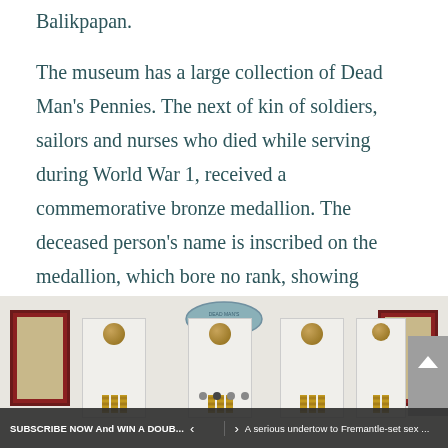Balikpapan.
The museum has a large collection of Dead Man's Pennies. The next of kin of soldiers, sailors and nurses who died while serving during World War 1, received a commemorative bronze medallion. The deceased person's name is inscribed on the medallion, which bore no rank, showing equality in their service.
[Figure (photo): Museum display showing a collection of Dead Man's Pennies (commemorative bronze medallions) mounted on a white wall. Three to four clear acrylic cases each containing a bronze circular medallion and ribbons are arranged across the wall. Framed items in dark red frames are visible on the left and right sides. A decorative crest/badge is visible at the top center of the display.]
SUBSCRIBE NOW And WIN A DOUB...    A serious undertow to Fremantle-set sex ...